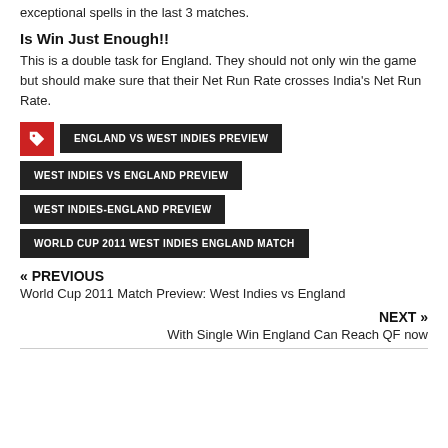exceptional spells in the last 3 matches.
Is Win Just Enough!!
This is a double task for England. They should not only win the game but should make sure that their Net Run Rate crosses India's Net Run Rate.
ENGLAND VS WEST INDIES PREVIEW
WEST INDIES VS ENGLAND PREVIEW
WEST INDIES-ENGLAND PREVIEW
WORLD CUP 2011 WEST INDIES ENGLAND MATCH
« PREVIOUS
World Cup 2011 Match Preview: West Indies vs England
NEXT »
With Single Win England Can Reach QF now